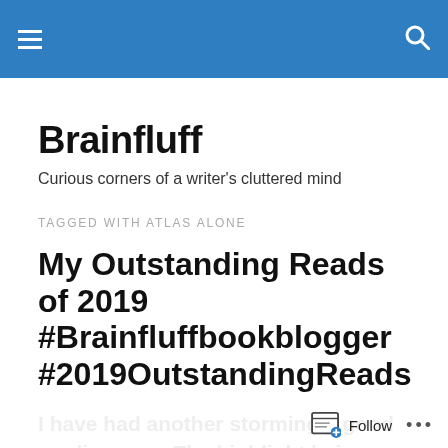Brainfluff — site header navigation bar
Brainfluff
Curious corners of a writer's cluttered mind
TAGGED WITH ATLAS ALONE
My Outstanding Reads of 2019 #Brainfluffbookblogger #2019OutstandingReads
I have had another stormingly good reading year. The highlight being my immediate love affair with
Follow ...